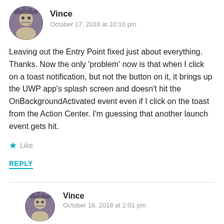Vince
October 17, 2018 at 10:10 pm
Leaving out the Entry Point fixed just about everything. Thanks. Now the only ‘problem’ now is that when I click on a toast notification, but not the button on it, it brings up the UWP app’s splash screen and doesn’t hit the OnBackgroundActivated event even if I click on the toast from the Action Center. I’m guessing that another launch event gets hit.
Like
REPLY
Vince
October 18, 2018 at 2:01 pm